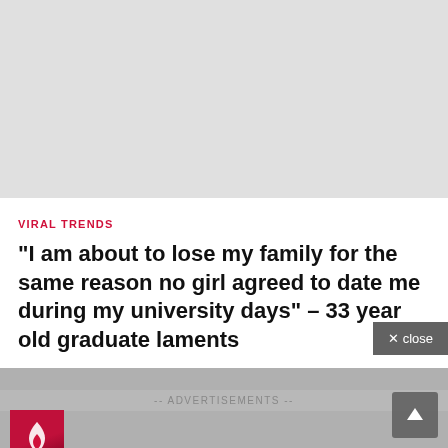[Figure (other): Gray placeholder image area at top of page]
VIRAL TRENDS
“I am about to lose my family for the same reason no girl agreed to date me during my university days” – 33 year old graduate laments
-- ADVERTISEMENTS --
[Figure (logo): Red/dark square logo with flame icon]
✕ close